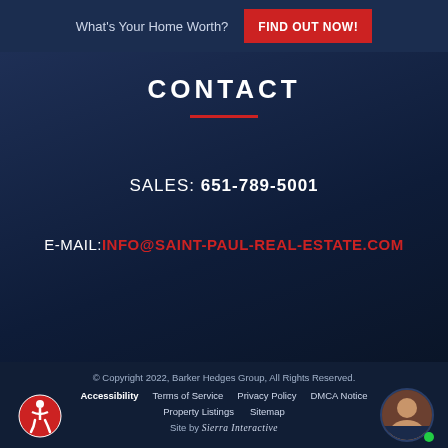What's Your Home Worth? FIND OUT NOW!
CONTACT
SALES: 651-789-5001
E-MAIL: INFO@SAINT-PAUL-REAL-ESTATE.COM
© Copyright 2022, Barker Hedges Group, All Rights Reserved. Accessibility  Terms of Service  Privacy Policy  DMCA Notice  Property Listings  Sitemap  Site by Sierra Interactive